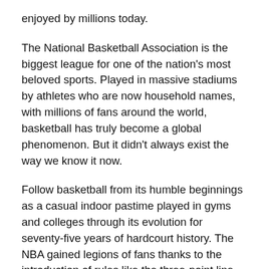enjoyed by millions today.
The National Basketball Association is the biggest league for one of the nation's most beloved sports. Played in massive stadiums by athletes who are now household names, with millions of fans around the world, basketball has truly become a global phenomenon. But it didn't always exist the way we know it now.
Follow basketball from its humble beginnings as a casual indoor pastime played in gyms and colleges through its evolution for seventy-five years of hardcourt history. The NBA gained legions of fans thanks to the introduction of rules like the three-point line and the twenty-four second clock, and teams such as the Harlem Globetrotters, who paved the way for desegregated teams. Discover the story of the legendary Olympic Dream Team of 1992 and beloved players like Larry Bird, Magic Johnson, Michael Jordan, and LeBron James, along with the early game-changers who